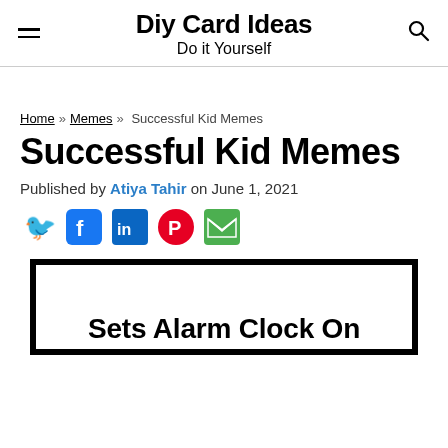Diy Card Ideas
Do it Yourself
Home » Memes » Successful Kid Memes
Successful Kid Memes
Published by Atiya Tahir on June 1, 2021
[Figure (infographic): Social sharing icons: Twitter (blue bird), Facebook (blue f), LinkedIn (blue in), Pinterest (red P), Email (green envelope)]
[Figure (infographic): Meme image box with bold text reading 'Sets Alarm Clock On']